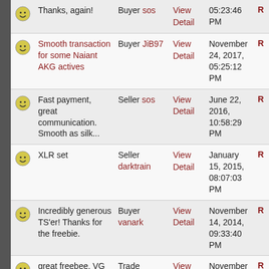|  | Comment | Role/User | View | Date |  |
| --- | --- | --- | --- | --- | --- |
| 😊 | Thanks, again! | Buyer sos | View Detail | 05:23:46 PM | R |
| 😊 | Smooth transaction for some Naiant AKG actives | Buyer JiB97 | View Detail | November 24, 2017, 05:25:12 PM | R |
| 😊 | Fast payment, great communication. Smooth as silk... | Seller sos | View Detail | June 22, 2016, 10:58:29 PM | R |
| 😊 | XLR set | Seller darktrain | View Detail | January 15, 2015, 08:07:03 PM | R |
| 😊 | Incredibly generous TS'er! Thanks for the freebie. | Buyer vanark | View Detail | November 14, 2014, 09:33:40 PM | R |
| 😊 | great freebee, VG TS'er!!!!! | Trade ero3030 | View Detail | November 14, 2014, 03:32:39 | R |